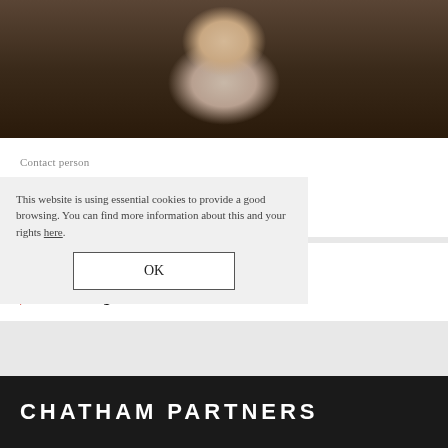[Figure (photo): Professional headshot photo of Jonna Kappler Fernandes, a woman in a dark blazer with light-colored turtleneck, photographed against a neutral background]
Contact person
Jonna Kappler Fernandes
Counsel
#renewables
#leaseagreements
This website is using essential cookies to provide a good browsing. You can find more information about this and your rights here.
OK
CHATHAM PARTNERS